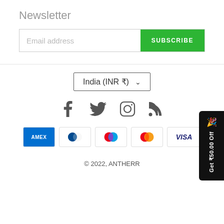Newsletter
[Figure (screenshot): Email subscription form with 'Email address' placeholder input and green 'SUBSCRIBE' button]
[Figure (screenshot): Country/currency selector showing 'India (INR ₹)' with dropdown arrow]
[Figure (infographic): Social media icons: Facebook, Twitter, Instagram, RSS feed]
[Figure (infographic): Payment method icons: AMEX, Diners Club, Maestro, Mastercard, Visa]
© 2022, ANTHERR
[Figure (infographic): Black promo tab on right side: party popper icon and 'Get ₹50.00 Off' rotated text]